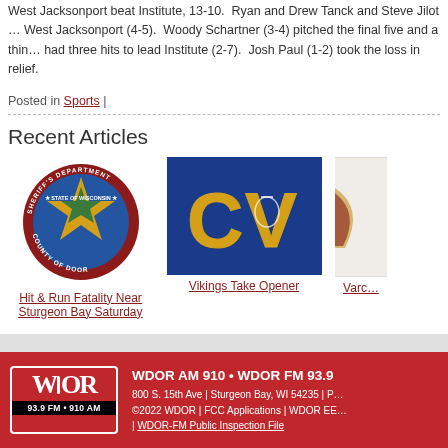West Jacksonport beat Institute, 13-10. Ryan and Drew Tanck and Steve Jilot ... West Jacksonport (4-5). Woody Schartner (3-4) pitched the final five and a thin... had three hits to lead Institute (2-7). Josh Paul (1-2) took the loss in relief.
Posted in Sports |
Recent Articles
[Figure (photo): Sheriff's Department - County of Door - State of Wisconsin badge/patch]
Hit & Run Fatality Near Sturgeon Bay Saturday
[Figure (logo): CV Vikings logo - blue background with gold CV letters and viking mascot]
Vikings Take Opener
Varc...
WDOR AM 910 • WDOR FM 93.9 | 800 S. 15th Ave | Sturgeon Bay, WI 54235 | P... ©2022 WDOR | FCC Applications | WDOR EE... | WDOR-FM Public Inspection File